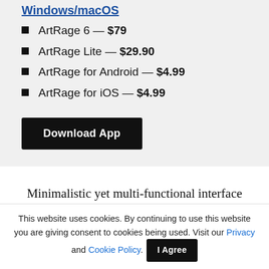Windows/macOS
ArtRage 6 — $79
ArtRage Lite — $29.90
ArtRage for Android — $4.99
ArtRage for iOS — $4.99
Download App
Minimalistic yet multi-functional interface panels
This website uses cookies. By continuing to use this website you are giving consent to cookies being used. Visit our Privacy and Cookie Policy. I Agree